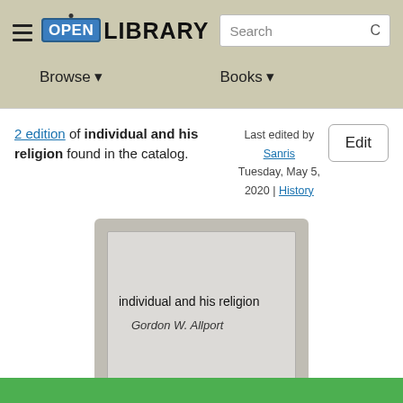Open Library — Browse | Books | Search
2 edition of individual and his religion found in the catalog.
Last edited by Sanris
Tuesday, May 5, 2020 | History
Edit
[Figure (illustration): Book cover placeholder showing title 'individual and his religion' by Gordon W. Allport on a grey background card]
individual and his religion
Gordon W. Allport